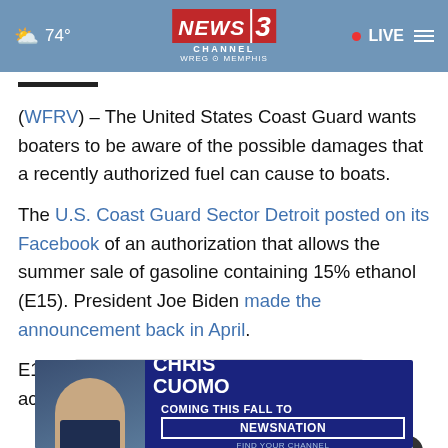74° NEWS 3 CHANNEL WREG MEMPHIS • LIVE
(WFRV) – The United States Coast Guard wants boaters to be aware of the possible damages that a recently authorized fuel can cause to boats.
The U.S. Coast Guard Sector Detroit posted on its Facebook of an authorization that allows the summer sale of gasoline containing 15% ethanol (E15). President Joe Biden made the announcement back in April.
E15 is federally prohibited for recreational use, accor...
[Figure (screenshot): Advertisement banner for Chris Cuomo Coming This Fall to NewsNation]